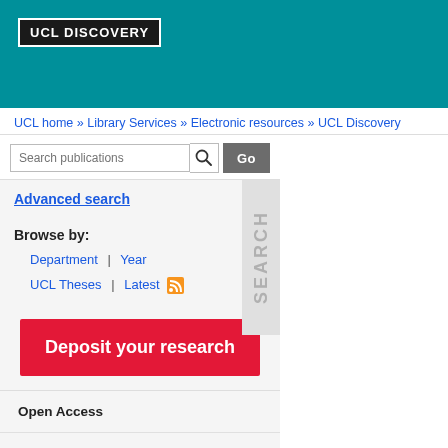UCL DISCOVERY
UCL home » Library Services » Electronic resources » UCL Discovery
Search publications
Advanced search
Browse by:
    Department   |   Year
    UCL Theses   |   Latest
Deposit your research
Open Access
About UCL Discovery
UCL Discovery Plus
REF and open access